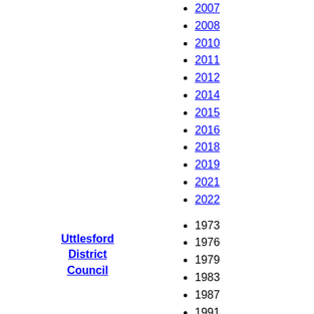2007
2008
2010
2011
2012
2014
2015
2016
2018
2019
2021
2022
1973
1976
1979
1983
1987
1991
1995
1999
2003
2007
2011
2015
2019
Uttlesford District Council